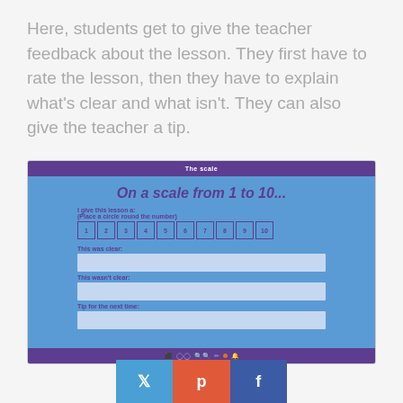Here, students get to give the teacher feedback about the lesson. They first have to rate the lesson, then they have to explain what's clear and what isn't. They can also give the teacher a tip.
[Figure (screenshot): Screenshot of an educational slide titled 'The scale' showing 'On a scale from 1 to 10...' with numbered boxes 1-10, and three text fields labeled 'This was clear:', 'This wasn't clear:', and 'Tip for the next time:']
Click to open